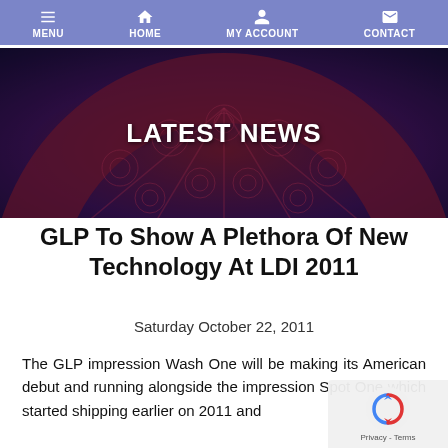MENU | HOME | MY ACCOUNT | CONTACT
[Figure (photo): Hero banner with dark red/purple decorative wheel pattern background and 'LATEST NEWS' text overlay]
GLP To Show A Plethora Of New Technology At LDI 2011
Saturday October 22, 2011
The GLP impression Wash One will be making its American debut and running alongside the impression Spot One which started shipping earlier on 2011 and